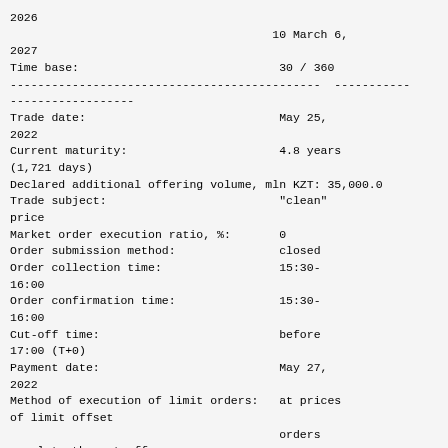2026
                                      10 March 6,
2027
Time base:                             30 / 360
---------------------------------------------  -----------
------------------
Trade date:                            May 25,
2022
Current maturity:                      4.8 years
(1,721 days)
Declared additional offering volume, mln KZT: 35,000.0
Trade subject:                         "clean"
price
Market order execution ratio, %:       0
Order submission method:               closed
Order collection time:                 15:30-
16:00
Order confirmation time:               15:30-
16:00
Cut-off time:                          before
17:00 (T+0)
Payment date:                          May 27,
2022
Method of execution of limit orders:   at prices
of limit offset
                                       orders
equal to the cut-off
                                       price or